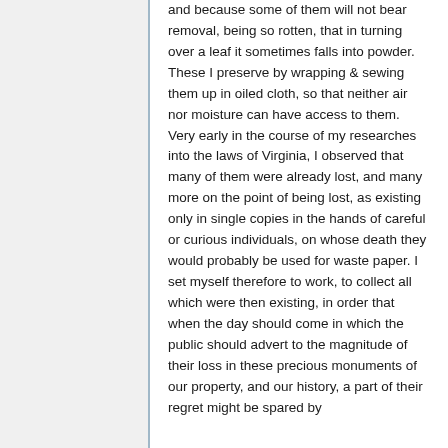and because some of them will not bear removal, being so rotten, that in turning over a leaf it sometimes falls into powder. These I preserve by wrapping & sewing them up in oiled cloth, so that neither air nor moisture can have access to them. Very early in the course of my researches into the laws of Virginia, I observed that many of them were already lost, and many more on the point of being lost, as existing only in single copies in the hands of careful or curious individuals, on whose death they would probably be used for waste paper. I set myself therefore to work, to collect all which were then existing, in order that when the day should come in which the public should advert to the magnitude of their loss in these precious monuments of our property, and our history, a part of their regret might be spared by